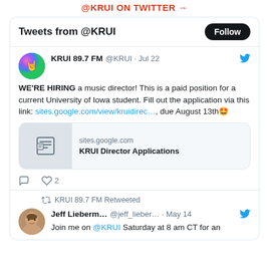@KRUI ON TWITTER →
Tweets from @KRUI
[Figure (screenshot): Twitter widget showing tweets from @KRUI radio station]
KRUI 89.7 FM @KRUI · Jul 22
WE'RE HIRING a music director! This is a paid position for a current University of Iowa student. Fill out the application via this link: sites.google.com/view/kruidirec..., due August 13th 🤩
sites.google.com
KRUI Director Applications
KRUI 89.7 FM Retweeted
Jeff Lieberm... @jeff_lieber... · May 14
Join me on @KRUI Saturday at 8 am CT for an